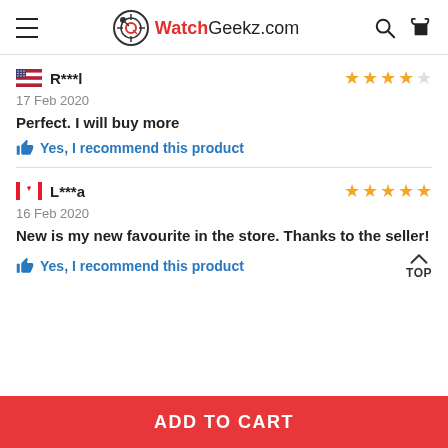WatchGeekz.com
R***l — 17 Feb 2020 — Perfect. I will buy more — Yes, I recommend this product — 4 stars
L***a — 16 Feb 2020 — New is my new favourite in the store. Thanks to the seller! — Yes, I recommend this product — 5 stars
ADD TO CART